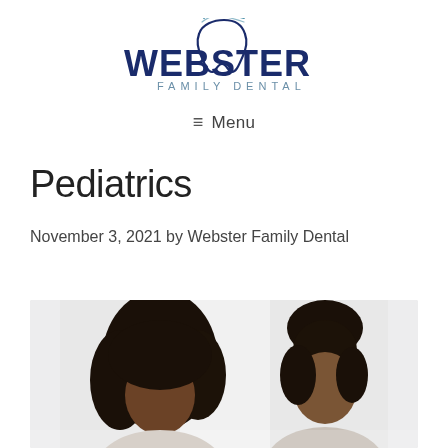[Figure (logo): Webster Family Dental logo with tooth icon above stylized text 'WEBSTER FAMILY DENTAL' in dark navy blue]
≡ Menu
Pediatrics
November 3, 2021 by Webster Family Dental
[Figure (photo): Photo of two women with curly dark hair looking downward, appears to be a dental or medical consultation setting with bright windows in background]